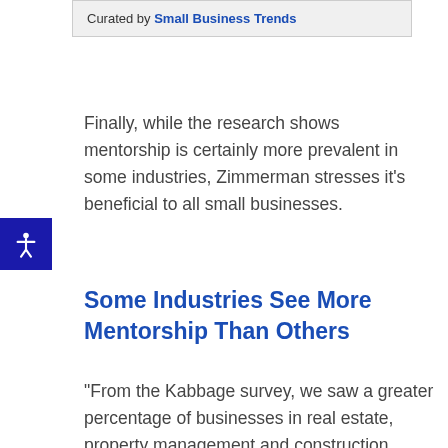Curated by Small Business Trends
Finally, while the research shows mentorship is certainly more prevalent in some industries, Zimmerman stresses it’s beneficial to all small businesses.
Some Industries See More Mentorship Than Others
“From the Kabbage survey, we saw a greater percentage of businesses in real estate, property management and construction